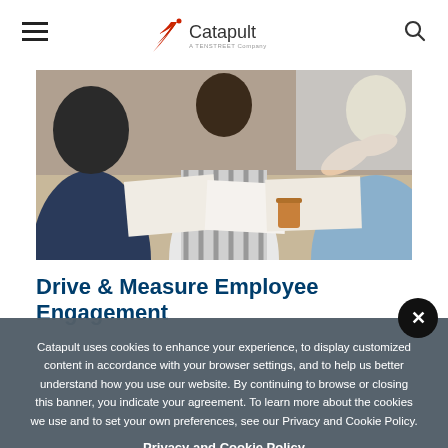Catapult – A TENSTREET Company
[Figure (photo): Group of people sitting around a table in a meeting, reviewing documents, one person gesturing with hands]
Drive & Measure Employee Engagement
Catapult uses cookies to enhance your experience, to display customized content in accordance with your browser settings, and to help us better understand how you use our website. By continuing to browse or closing this banner, you indicate your agreement. To learn more about the cookies we use and to set your own preferences, see our Privacy and Cookie Policy.
Privacy and Cookie Policy